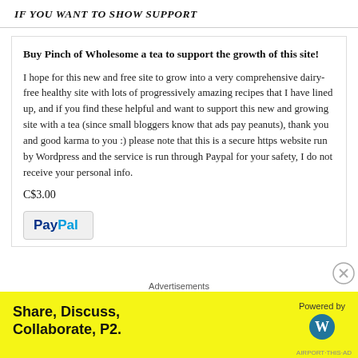IF YOU WANT TO SHOW SUPPORT
Buy Pinch of Wholesome a tea to support the growth of this site!
I hope for this new and free site to grow into a very comprehensive dairy-free healthy site with lots of progressively amazing recipes that I have lined up, and if you find these helpful and want to support this new and growing site with a tea (since small bloggers know that ads pay peanuts), thank you and good karma to you :) please note that this is a secure https website run by Wordpress and the service is run through Paypal for your safety, I do not receive your personal info.
C$3.00
[Figure (logo): PayPal button logo]
Advertisements
[Figure (screenshot): Advertisement banner: Share, Discuss, Collaborate, P2. Powered by WordPress logo on yellow background]